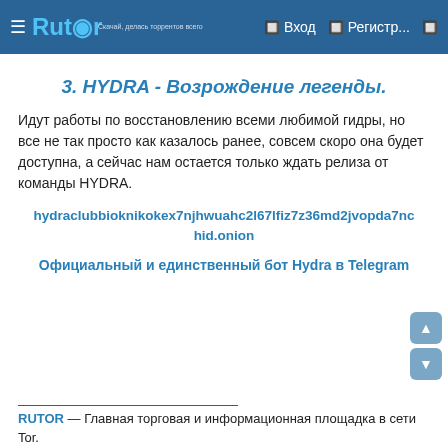Rutor — Вход — Регистр...
3. HYDRA - Возрождение легенды.
Идут работы по восстановлению всеми любимой гидры, но все не так просто как казалось ранее, совсем скоро она будет доступна, а сейчас нам остается только ждать релиза от команды HYDRA.
hydraclubbioknikokex7njhwuahc2l67lfiz7z36md2jvopda7nchid.onion
Официальный и единственный бот Hydra в Telegram
RUTOR — Главная торговая и информационная площадка в сети Tor.